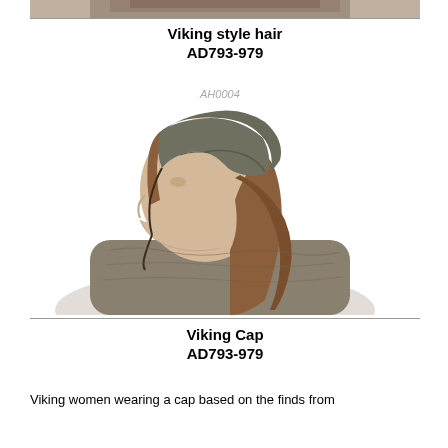[Figure (photo): Top portion of a person wearing Viking style hair, cropped photo showing upper head area]
Viking style hair
AD793-979
AH0004
[Figure (photo): Side profile of a woman wearing a Viking cap (dark grey woollen cap with ties under chin), with long brown hair, wearing a grey tunic]
Viking Cap
AD793-979
Viking women wearing a cap based on the finds from